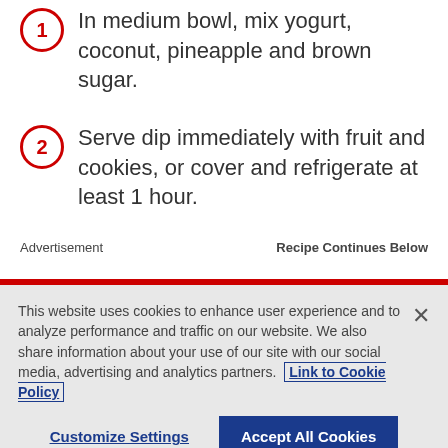1. In medium bowl, mix yogurt, coconut, pineapple and brown sugar.
2. Serve dip immediately with fruit and cookies, or cover and refrigerate at least 1 hour.
Advertisement    Recipe Continues Below
This website uses cookies to enhance user experience and to analyze performance and traffic on our website. We also share information about your use of our site with our social media, advertising and analytics partners. Link to Cookie Policy
Customize Settings   Accept All Cookies